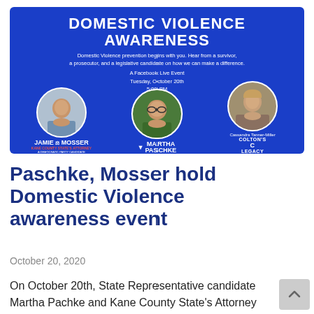[Figure (infographic): Domestic Violence Awareness event flyer on blue background. Title reads DOMESTIC VIOLENCE AWARENESS. Subtitle: Domestic Violence prevention begins with you. Hear from a survivor, a prosecutor, and a legislative candidate on how we can make a difference. A Facebook Live Event, Tuesday, October 20th, 5:00 PM, with. Three circular portrait photos: Jamie Mosser (left), Martha Paschke (center), Cassandra Tanner-Miller (right) with Colton's Legacy logo.]
Paschke, Mosser hold Domestic Violence awareness event
October 20, 2020
On October 20th, State Representative candidate Martha Pachke and Kane County State's Attorney candidate Jamie Mosser held a